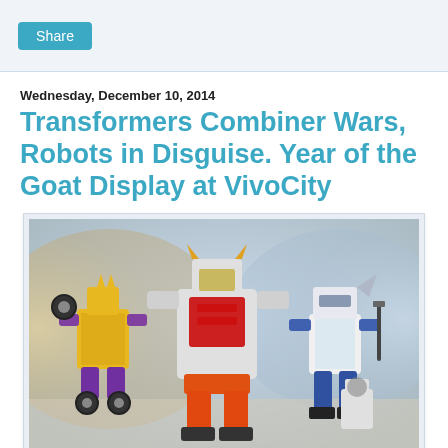Share
Wednesday, December 10, 2014
Transformers Combiner Wars, Robots in Disguise. Year of the Goat Display at VivoCity
[Figure (photo): Photo of Transformers toy figures — Combiner Wars and Robots in Disguise characters displayed together, with a blurred colorful background]